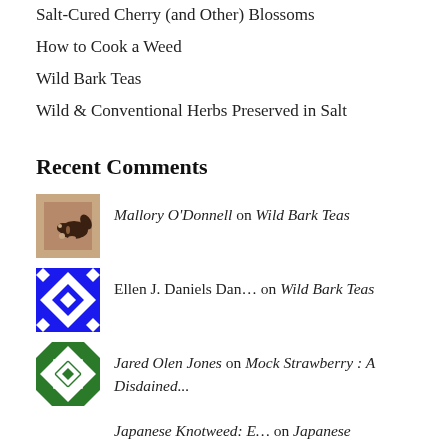Salt-Cured Cherry (and Other) Blossoms
How to Cook a Weed
Wild Bark Teas
Wild & Conventional Herbs Preserved in Salt
Recent Comments
Mallory O'Donnell on Wild Bark Teas
Ellen J. Daniels Dan… on Wild Bark Teas
Jared Olen Jones on Mock Strawberry : A Disdained...
Japanese Knotweed: E… on Japanese Knotweed Simple Syrup
Joseph Gothie on How to Cook a Weed